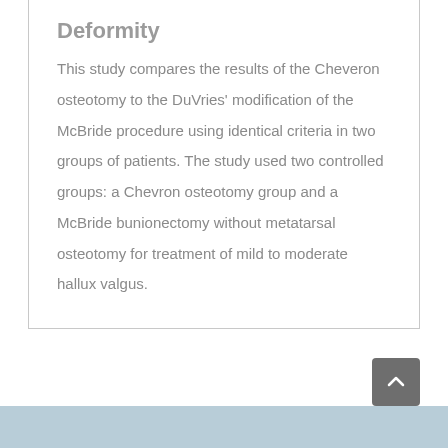Deformity
This study compares the results of the Cheveron osteotomy to the DuVries' modification of the McBride procedure using identical criteria in two groups of patients. The study used two controlled groups: a Chevron osteotomy group and a McBride bunionectomy without metatarsal osteotomy for treatment of mild to moderate hallux valgus.